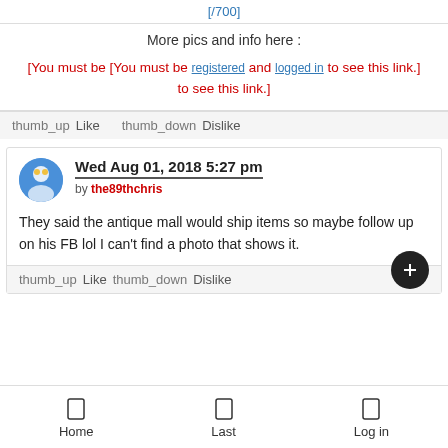[/700]
More pics and info here :
[You must be [You must be registered and logged in to see this link.] to see this link.]
thumb_up  Like    thumb_down  Dislike
Wed Aug 01, 2018 5:27 pm by the89thchris
They said the antique mall would ship items so maybe follow up on his FB lol I can't find a photo that shows it.
thumb_up  Like    thumb_down  Dislike
Home   Last   Log in